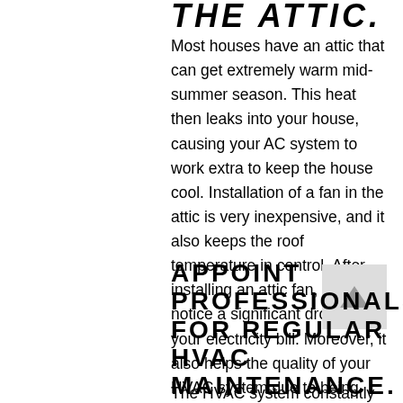THE ATTIC.
Most houses have an attic that can get extremely warm mid-summer season. This heat then leaks into your house, causing your AC system to work extra to keep the house cool. Installation of a fan in the attic is very inexpensive, and it also keeps the roof temperature in control. After installing an attic fan, you will notice a significant drop in your electricity bill. Moreover, it also helps the quality of your HVAC system due to being overworked.
APPOINT PROFESSIONALS FOR REGULAR HVAC MAINTENANCE.
The HVAC system constantly works in all